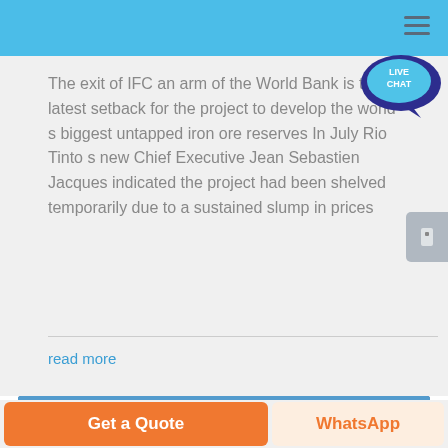The exit of IFC an arm of the World Bank is the latest setback for the project to develop the world s biggest untapped iron ore reserves In July Rio Tinto s new Chief Executive Jean Sebastien Jacques indicated the project had been shelved temporarily due to a sustained slump in prices
read more
[Figure (photo): Construction site photo showing cranes and workers against a blue sky]
Get a Quote
WhatsApp